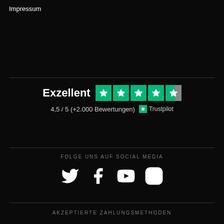Impressum
[Figure (infographic): Trustpilot rating block: 'Exzellent' text with 4.5 green stars and rating '4,5 / 5 (+2.000 Bewertungen)' with Trustpilot logo]
FOLGE UNS AUF SOCIAL MEDIA
[Figure (infographic): Social media icons: Twitter, Facebook, YouTube, Instagram]
AKZEPTIERTE ZAHLUNGSMETHODEN